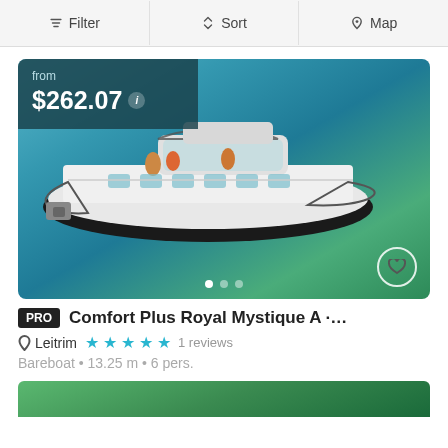Filter  Sort  Map
[Figure (photo): Aerial view of a white motor yacht on blue water with people on deck]
from $262.07
PRO  Comfort Plus Royal Mystique A · 2...
Leitrim ★★★★★ 1 reviews
Bareboat • 13.25 m • 6 pers.
[Figure (photo): Partial view of another boat listing below]